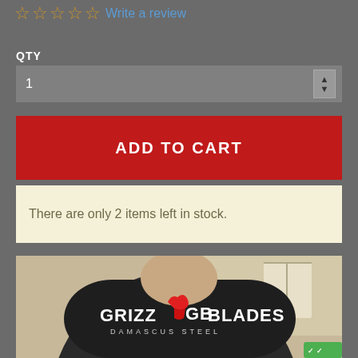☆☆☆☆☆ Write a review
QTY
1
ADD TO CART
There are only 2 items left in stock.
[Figure (photo): Man wearing a black Grizzly Blades Damascus Steel t-shirt with the GB logo on the chest]